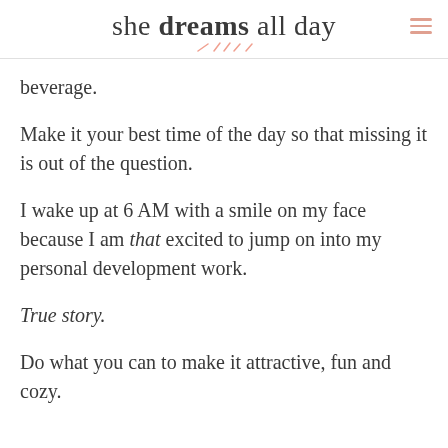she dreams all day
beverage.
Make it your best time of the day so that missing it is out of the question.
I wake up at 6 AM with a smile on my face because I am that excited to jump on into my personal development work.
True story.
Do what you can to make it attractive, fun and cozy.